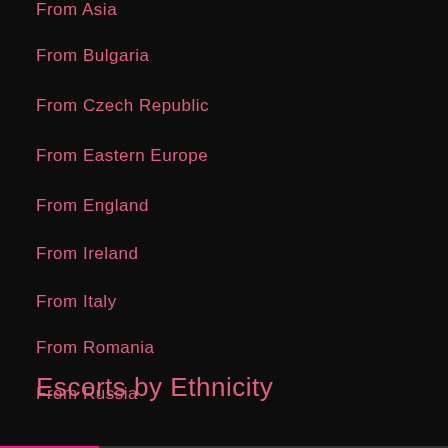From Asia
From Bulgaria
From Czech Republic
From Eastern Europe
From England
From Ireland
From Italy
From Romania
From Russia
From Scotland
From Spain
Escorts by Ethnicity